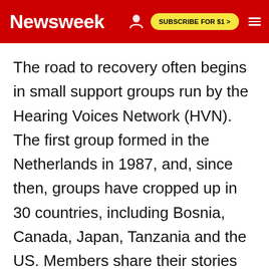Newsweek | SUBSCRIBE FOR $1 >
The road to recovery often begins in small support groups run by the Hearing Voices Network (HVN). The first group formed in the Netherlands in 1987, and, since then, groups have cropped up in 30 countries, including Bosnia, Canada, Japan, Tanzania and the US. Members share their stories and exchange coping mechanisms, which can include setting appointments to talk with the voices, so the voice-hearer can function without distraction the rest of the day. Above all, these groups